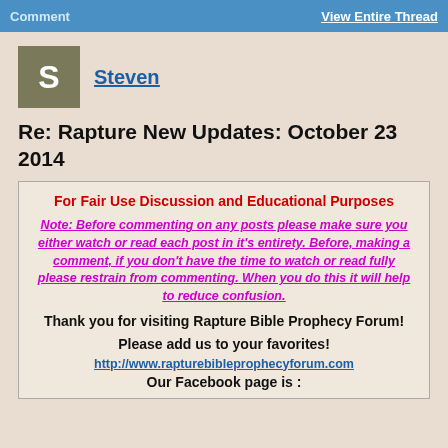Comment   View Entire Thread
[Figure (other): User avatar square with letter S on olive/khaki background]
Steven
Re: Rapture New Updates: October 23 2014
For Fair Use Discussion and Educational Purposes
Note: Before commenting on any posts please make sure you either watch or read each post in it's entirety. Before, making a comment, if you don't have the time to watch or read fully please restrain from commenting. When you do this it will help to reduce confusion.
Thank you for visiting Rapture Bible Prophecy Forum!
Please add us to your favorites!
http://www.rapturebibleprophecyforum.com
Our Facebook page is :